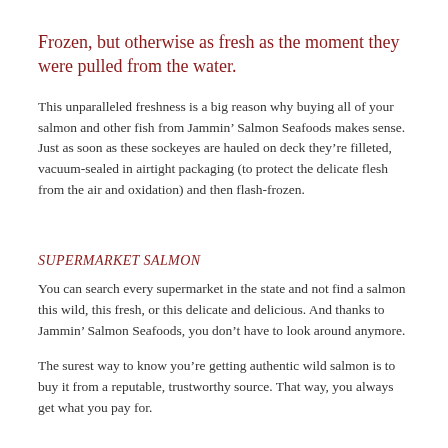Frozen, but otherwise as fresh as the moment they were pulled from the water.
This unparalleled freshness is a big reason why buying all of your salmon and other fish from Jammin’ Salmon Seafoods makes sense. Just as soon as these sockeyes are hauled on deck they’re filleted, vacuum-sealed in airtight packaging (to protect the delicate flesh from the air and oxidation) and then flash-frozen.
SUPERMARKET SALMON
You can search every supermarket in the state and not find a salmon this wild, this fresh, or this delicate and delicious. And thanks to Jammin’ Salmon Seafoods, you don’t have to look around anymore.
The surest way to know you’re getting authentic wild salmon is to buy it from a reputable, trustworthy source. That way, you always get what you pay for.